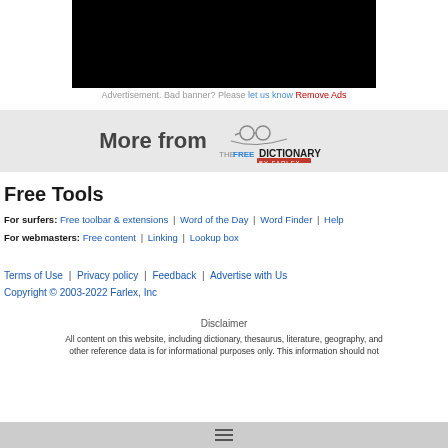[Figure (other): Black advertisement banner placeholder]
Advertisement. Bad banner? Please let us know Remove Ads
[Figure (logo): More from The Free Dictionary by Farlex logo banner]
Free Tools
For surfers: Free toolbar & extensions | Word of the Day | Word Finder | Help
For webmasters: Free content | Linking | Lookup box
Terms of Use | Privacy policy | Feedback | Advertise with Us
Copyright © 2003-2022 Farlex, Inc
Disclaimer
All content on this website, including dictionary, thesaurus, literature, geography, and other reference data is for informational purposes only. This information should not